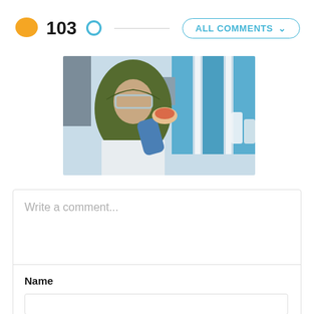103
ALL COMMENTS
[Figure (photo): A woman wearing a green hijab and safety glasses holds laboratory samples/petri dishes in a laboratory setting with blue equipment in the background. She is wearing blue gloves.]
Write a comment...
Name